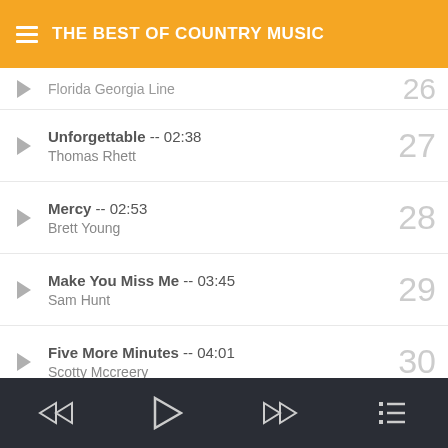THE BEST OF COUNTRY MUSIC
Florida Georgia Line — 26
Unforgettable — 02:38, Thomas Rhett, 27
Mercy — 02:53, Brett Young, 28
Make You Miss Me — 03:45, Sam Hunt, 29
Five More Minutes — 04:01, Scotty Mccreery, 30
How Not To — 03:13, Dan + Shay, 31
Media player controls: rewind, play, fast-forward, playlist